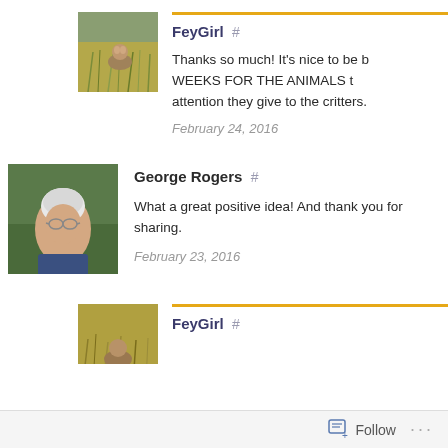[Figure (photo): Avatar photo of FeyGirl - dog or animal in tall grass field]
FeyGirl #
Thanks so much! It's nice to be b... WEEKS FOR THE ANIMALS t... attention they give to the critters.
February 24, 2016
[Figure (photo): Avatar photo of George Rogers - elderly man with white hair and glasses]
George Rogers #
What a great positive idea! And thank you for sharing.
February 23, 2016
[Figure (photo): Avatar photo of FeyGirl - animal in golden grass field, partial view]
FeyGirl #